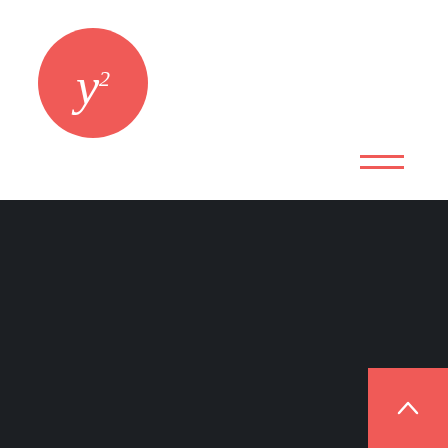[Figure (logo): Red circle logo with italic lowercase 'y' and superscript '2' in white]
[Figure (other): Hamburger menu icon — two red horizontal lines]
MOTION DESIGNER
YUCEL YILMAZ
✉ SEND AN EMAIL!
[Figure (other): Red square button with white upward chevron arrow (back to top)]